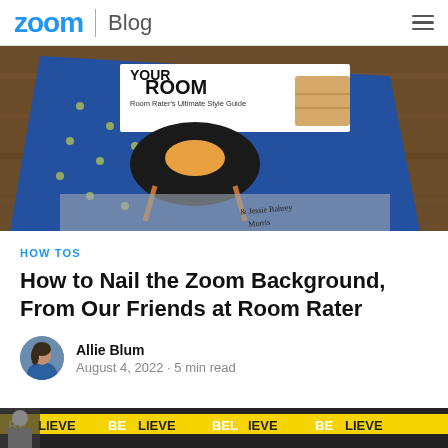Zoom Blog
[Figure (photo): Photo of a book titled 'YOUR ROOM: Room Rater's Ultimate Style Guide' with a blue cover featuring illustrated furniture and a cat, resting on a wooden surface.]
HOW TOS
How to Nail the Zoom Background, From Our Friends at Room Rater
Allie Blum
August 4, 2022 · 5 min read
[Figure (photo): Partial photo at the bottom showing multiple video call thumbnails with people and a yellow banner reading 'BELIEVE' repeated.]